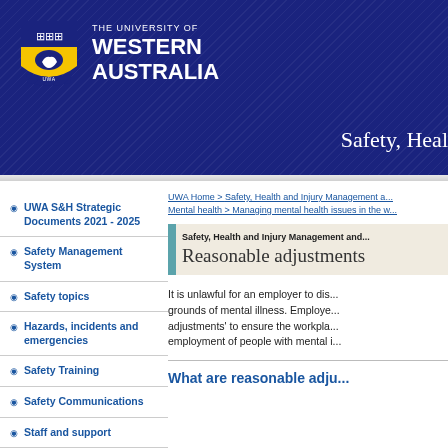[Figure (logo): University of Western Australia logo with shield and text header banner in dark blue]
Safety, Heal
UWA Home > Safety, Health and Injury Management a... Mental health > Managing mental health issues in the w...
Safety, Health and Injury Management and... Reasonable adjustments
UWA S&H Strategic Documents 2021 - 2025
Safety Management System
Safety topics
Hazards, incidents and emergencies
Safety Training
Safety Communications
Staff and support
Injury Management and Wellbeing
It is unlawful for an employer to dis... grounds of mental illness. Employe... adjustments' to ensure the workpla... employment of people with mental i...
What are reasonable adju...